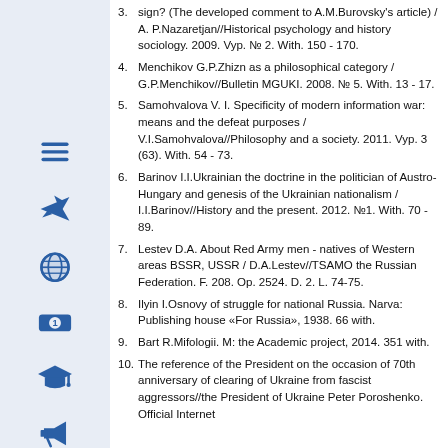[Figure (infographic): Left sidebar with blue icons on light blue background: hamburger menu, airplane, globe, money/coin, graduation cap, megaphone]
3. sign? (The developed comment to A.M.Burovsky's article) / A.P.Nazaretjan//Historical psychology and history sociology. 2009. Vyp. № 2. With. 150 - 170.
4. Menchikov G.P.Zhizn as a philosophical category / G.P.Menchikov//Bulletin MGUKI. 2008. № 5. With. 13 - 17.
5. Samohvalova V. I. Specificity of modern information war: means and the defeat purposes / V.I.Samohvalova//Philosophy and a society. 2011. Vyp. 3 (63). With. 54 - 73.
6. Barinov I.I.Ukrainian the doctrine in the politician of Austro-Hungary and genesis of the Ukrainian nationalism / I.I.Barinov//History and the present. 2012. №1. With. 70 - 89.
7. Lestev D.A. About Red Army men - natives of Western areas BSSR, USSR / D.A.Lestev//TSAMO the Russian Federation. F. 208. Op. 2524. D. 2. L. 74-75.
8. Ilyin I.Osnovy of struggle for national Russia. Narva: Publishing house «For Russia», 1938. 66 with.
9. Bart R.Mifologii. M: the Academic project, 2014. 351 with.
10. The reference of the President on the occasion of 70th anniversary of clearing of Ukraine from fascist aggressors//the President of Ukraine Peter Poroshenko. Official Internet